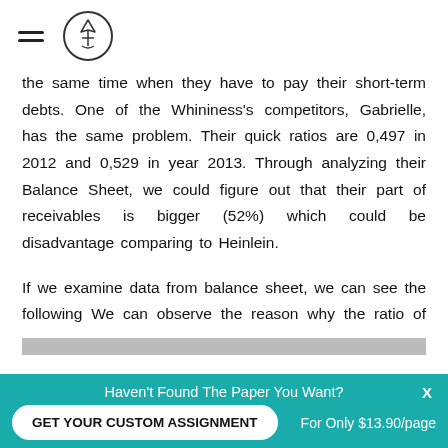[hamburger menu icon] [logo icon]
the same time when they have to pay their short-term debts. One of the Whininess's competitors, Gabrielle, has the same problem. Their quick ratios are 0,497 in 2012 and 0,529 in year 2013. Through analyzing their Balance Sheet, we could figure out that their part of receivables is bigger (52%) which could be disadvantage comparing to Heinlein.
If we examine data from balance sheet, we can see the following We can observe the reason why the ratio of Gabrielle to better. The receivable is at the level of
Haven't Found The Paper You Want?
GET YOUR CUSTOM ASSIGNMENT
For Only $13.90/page